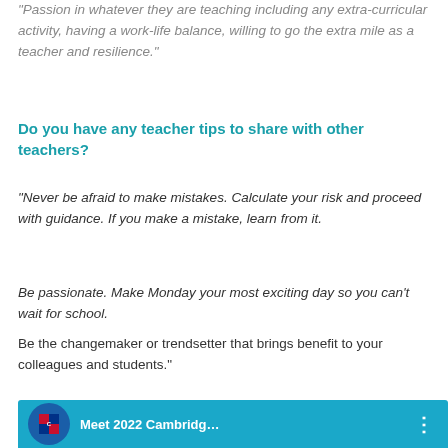“Passion in whatever they are teaching including any extra-curricular activity, having a work-life balance, willing to go the extra mile as a teacher and resilience.”
Do you have any teacher tips to share with other teachers?
“Never be afraid to make mistakes. Calculate your risk and proceed with guidance. If you make a mistake, learn from it.
Be passionate. Make Monday your most exciting day so you can’t wait for school.
Be the changemaker or trendsetter that brings benefit to your colleagues and students.”
[Figure (screenshot): YouTube video thumbnail showing 'Meet 2022 Cambridg...' with Cambridge University Press logo and a person in the background on a blue background.]